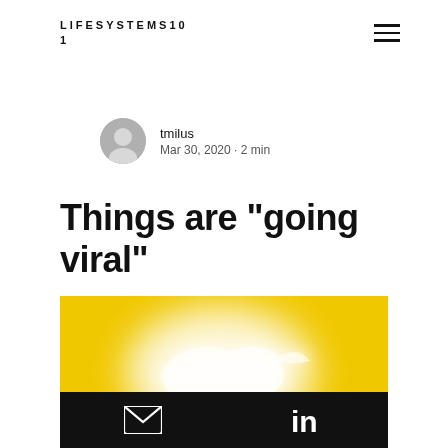LIFESYSTEMS101
tmilus
Mar 30, 2020 · 2 min
Things are "going viral"
[Figure (photo): Yellow background with blurred white bird/Twitter bird logo shape]
[Figure (other): Black bottom bar with email envelope icon and LinkedIn 'in' icon]